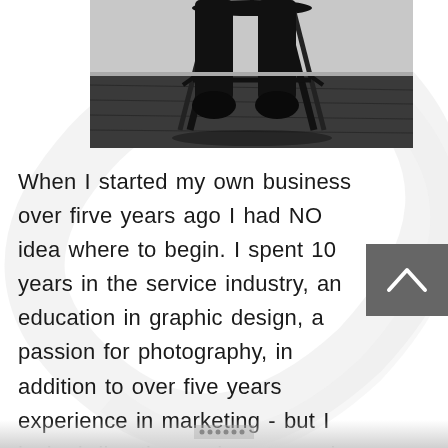[Figure (photo): Black and white photo showing lower portion of a person sitting on a barstool, wearing boots, on a dark wooden floor background.]
When I started my own business over firve years ago I had NO idea where to begin. I spent 10 years in the service industry, an education in graphic design, a passion for photography, in addition to over five years experience in marketing - but I lacked direction on how to apply all these things into a business. I